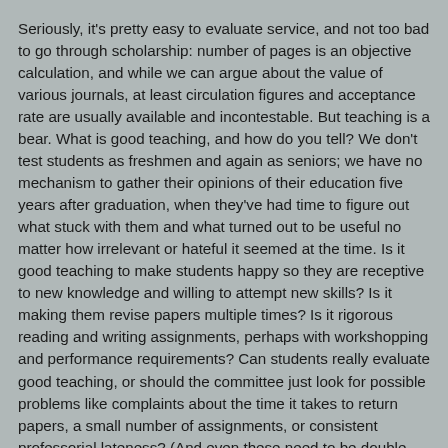Seriously, it's pretty easy to evaluate service, and not too bad to go through scholarship: number of pages is an objective calculation, and while we can argue about the value of various journals, at least circulation figures and acceptance rate are usually available and incontestable. But teaching is a bear. What is good teaching, and how do you tell? We don't test students as freshmen and again as seniors; we have no mechanism to gather their opinions of their education five years after graduation, when they've had time to figure out what stuck with them and what turned out to be useful no matter how irrelevant or hateful it seemed at the time. Is it good teaching to make students happy so they are receptive to new knowledge and willing to attempt new skills? Is it making them revise papers multiple times? Is it rigorous reading and writing assignments, perhaps with workshopping and performance requirements? Can students really evaluate good teaching, or should the committee just look for possible problems like complaints about the time it takes to return papers, a small number of assignments, or consistent professorial lateness? (And even these need to be double-checked: is "a long time" ten days or a month?